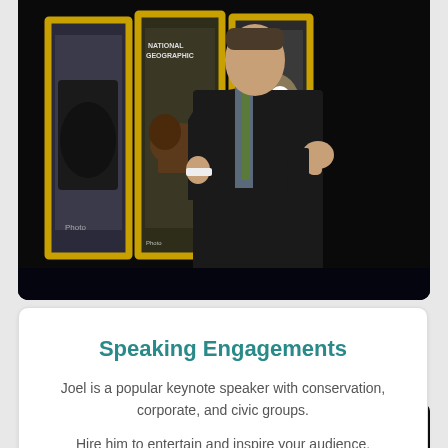[Figure (photo): Man in dark suit speaking on stage in front of National Geographic magazine covers displayed on illuminated panels, gesturing with hands]
Speaking Engagements
Joel is a popular keynote speaker with conservation, corporate, and civic groups.
Hire him to entertain and inspire your audience.
Book Joel To Speak ❯
[Figure (photo): Partial view of a cat (orange/tabby) against dark background, only top of head and ears visible]